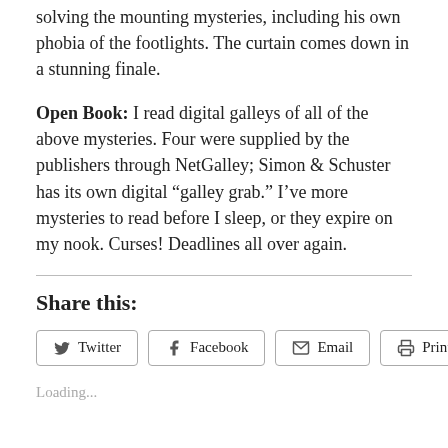solving the mounting mysteries, including his own phobia of the footlights. The curtain comes down in a stunning finale.
Open Book: I read digital galleys of all of the above mysteries. Four were supplied by the publishers through NetGalley; Simon & Schuster has its own digital “galley grab.” I’ve more mysteries to read before I sleep, or they expire on my nook. Curses! Deadlines all over again.
Share this:
Loading...